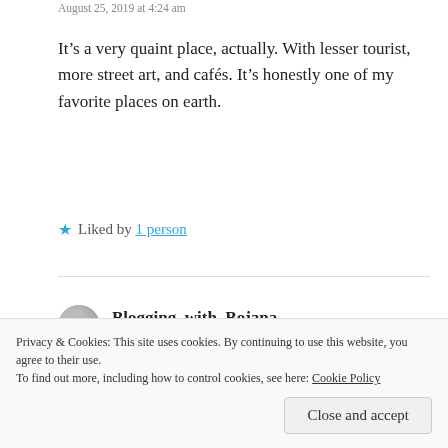August 25, 2019 at 4:24 am
It’s a very quaint place, actually. With lesser tourist, more street art, and cafés. It’s honestly one of my favorite places on earth.
★ Liked by 1 person
Blogging_with_Bojana
August 25, 2019 at 9:57 am
Cool. Where do you actually live?
Privacy & Cookies: This site uses cookies. By continuing to use this website, you agree to their use.
To find out more, including how to control cookies, see here: Cookie Policy
Close and accept